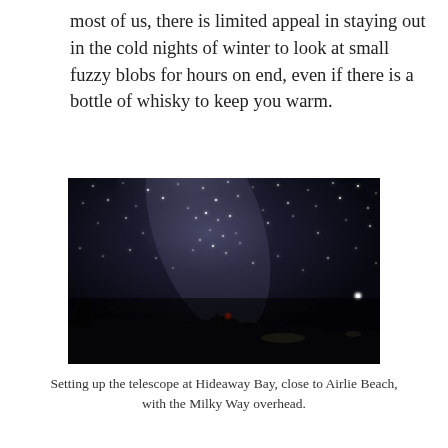most of us, there is limited appeal in staying out in the cold nights of winter to look at small fuzzy blobs for hours on end, even if there is a bottle of whisky to keep you warm.
[Figure (photo): Night sky photograph showing the Milky Way overhead. A silhouetted figure with a red light stands near a telescope in the foreground, with dark landscape and a bright point of light visible on the right horizon.]
Setting up the telescope at Hideaway Bay, close to Airlie Beach, with the Milky Way overhead.